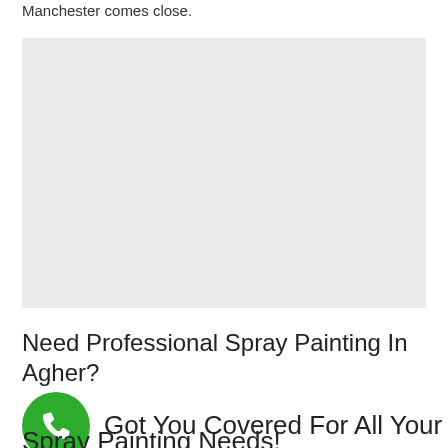Manchester comes close.
[Figure (other): Large grey placeholder image/content box]
Need Professional Spray Painting In Agher?
Got You Covered For All Your Spray Painting Needs!